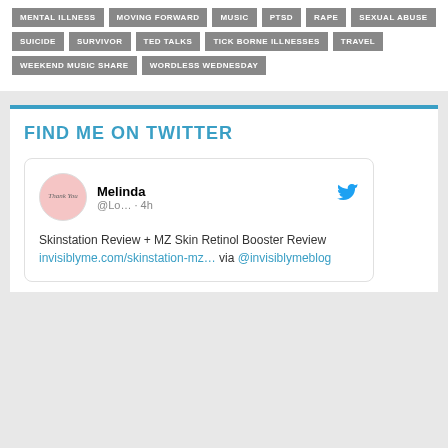MENTAL ILLNESS
MOVING FORWARD
MUSIC
PTSD
RAPE
SEXUAL ABUSE
SUICIDE
SURVIVOR
TED TALKS
TICK BORNE ILLNESSES
TRAVEL
WEEKEND MUSIC SHARE
WORDLESS WEDNESDAY
FIND ME ON TWITTER
[Figure (screenshot): Tweet card showing user Melinda (@Lo...) posted 4h ago: 'Skinstation Review + MZ Skin Retinol Booster Review invisiblyme.com/skinstation-mz... via @invisiblymeblog', with a pink circular avatar saying 'Thank You' and a Twitter bird icon.]